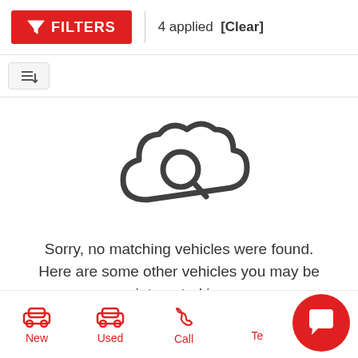FILTERS | 4 applied [Clear]
[Figure (screenshot): Sort/filter icon button with lines and down arrow]
[Figure (illustration): Cloud with magnifying glass icon indicating no search results found]
Sorry, no matching vehicles were found. Here are some other vehicles you may be interested in:
View All Used Inventory
New | Used | Call | Te[xt]